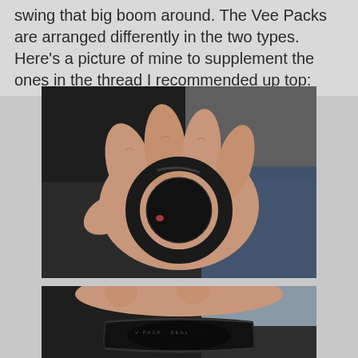swing that big boom around. The Vee Packs are arranged differently in the two types. Here's a picture of mine to supplement the ones in the thread I recommended up top:
[Figure (photo): A hand holding a black rubber vee pack ring/seal, viewed from the front, showing the ring's circular shape. Background shows a dark surface and blue denim.]
[Figure (photo): A hand holding a black rubber vee pack ring/seal viewed from a different angle, showing text/markings on the edge of the seal. Partial view cropped at bottom of page.]